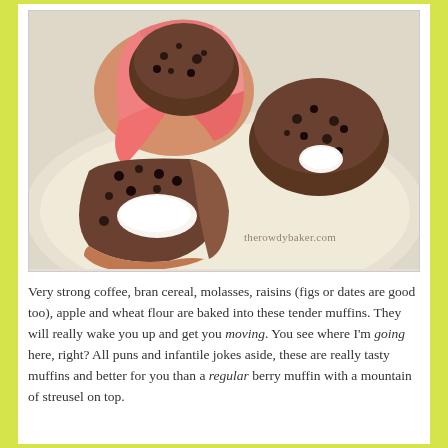[Figure (photo): Photograph of chocolate bran muffins with cream cheese filling on a white plate. One muffin in pink tulip wrapper in background, two muffins split open in foreground showing white cream filling inside dark chocolate-colored muffin with raisins. Watermark reads 'therowdybaker.com'.]
Very strong coffee, bran cereal, molasses, raisins (figs or dates are good too), apple and wheat flour are baked into these tender muffins. They will really wake you up and get you moving. You see where I'm going here, right? All puns and infantile jokes aside, these are really tasty muffins and better for you than a regular berry muffin with a mountain of streusel on top.